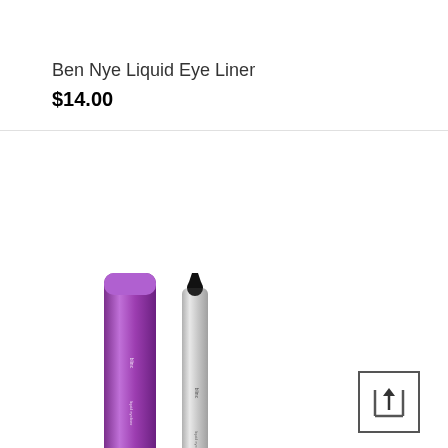Ben Nye Liquid Eye Liner
$14.00
[Figure (photo): Product photo showing a purple cylindrical tube (blinc) alongside a silver liquid eyeliner pen with black tip and its cap, all against a white background.]
[Figure (other): Share/upload icon: upward arrow inside a square bracket box]